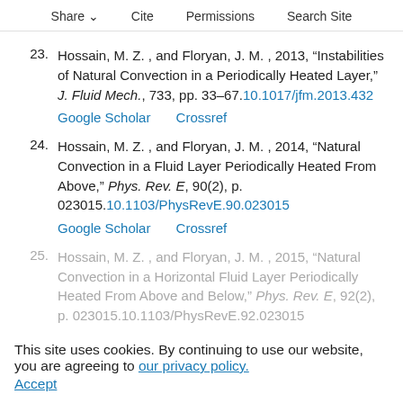Share  Cite  Permissions  Search Site
23. Hossain, M. Z. , and Floryan, J. M. , 2013, “Instabilities of Natural Convection in a Periodically Heated Layer,” J. Fluid Mech., 733, pp. 33–67. 10.1017/jfm.2013.432
Google Scholar  Crossref
24. Hossain, M. Z. , and Floryan, J. M. , 2014, “Natural Convection in a Fluid Layer Periodically Heated From Above,” Phys. Rev. E, 90(2), p. 023015. 10.1103/PhysRevE.90.023015
Google Scholar  Crossref
25. Hossain, M. Z. , and Floryan, J. M. , 2015, “Natural Convection in a Horizontal Fluid Layer Periodically Heated From Above and Below,” Phys. Rev. E, 92(2), p. 023015. 10.1103/PhysRevE.92.023015
This site uses cookies. By continuing to use our website, you are agreeing to our privacy policy.
Accept